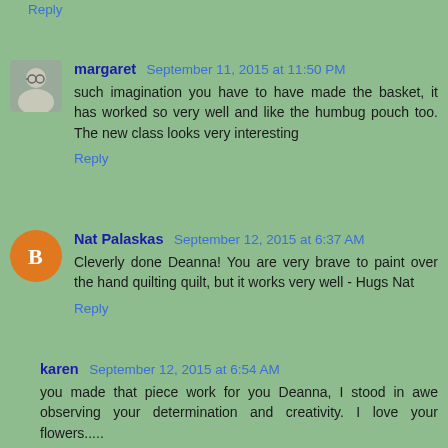Reply
margaret  September 11, 2015 at 11:50 PM
such imagination you have to have made the basket, it has worked so very well and like the humbug pouch too. The new class looks very interesting
Reply
Nat Palaskas  September 12, 2015 at 6:37 AM
Cleverly done Deanna! You are very brave to paint over the hand quilting quilt, but it works very well - Hugs Nat
Reply
karen  September 12, 2015 at 6:54 AM
you made that piece work for you Deanna, I stood in awe observing your determination and creativity. I love your flowers.....